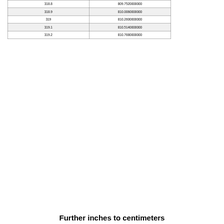| 318.8 | 809.7520000000 |
| 318.9 | 810.0060000000 |
| 319 | 810.2600000000 |
| 319.1 | 810.5140000000 |
| 319.2 | 810.7680000000 |
Further inches to centimeters